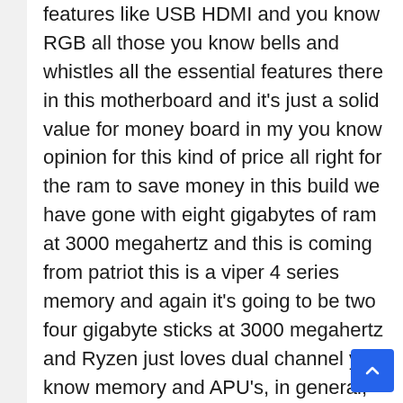features like USB HDMI and you know RGB all those you know bells and whistles all the essential features there in this motherboard and it's just a solid value for money board in my you know opinion for this kind of price all right for the ram to save money in this build we have gone with eight gigabytes of ram at 3000 megahertz and this is coming from patriot this is a viper 4 series memory and again it's going to be two four gigabyte sticks at 3000 megahertz and Ryzen just loves dual channel you know memory and APU's, in general, the cray for dual-channel memory.
So when you're gonna run these two sticks you're gonna get really nice performance better performance compared to a single stick of ram